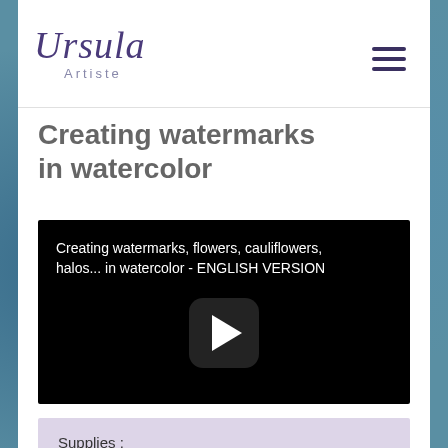[Figure (logo): Ursula Artiste logo with stylized script font and hamburger menu icon]
Creating watermarks in watercolor
[Figure (screenshot): Video thumbnail showing black background with white text: 'Creating watermarks, flowers, cauliflowers, halos... in watercolor - ENGLISH VERSION' and a play button]
Supplies :
Brushes : Escoda Aquario nº18,